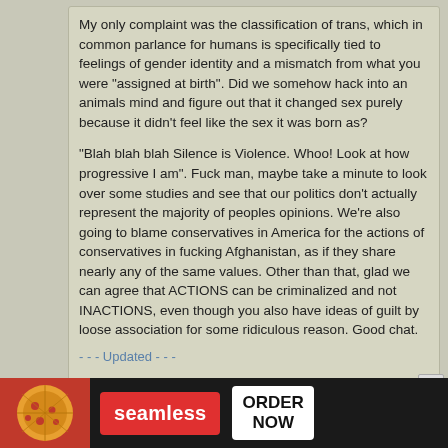My only complaint was the classification of trans, which in common parlance for humans is specifically tied to feelings of gender identity and a mismatch from what you were "assigned at birth". Did we somehow hack into an animals mind and figure out that it changed sex purely because it didn't feel like the sex it was born as?
"Blah blah blah Silence is Violence. Whoo! Look at how progressive I am". Fuck man, maybe take a minute to look over some studies and see that our politics don't actually represent the majority of peoples opinions. We're also going to blame conservatives in America for the actions of conservatives in fucking Afghanistan, as if they share nearly any of the same values. Other than that, glad we can agree that ACTIONS can be criminalized and not INACTIONS, even though you also have ideas of guilt by loose association for some ridiculous reason. Good chat.
- - - Updated - - -
Call it whatever you want, it doesn't make it wrong. I'll kink shame the fuck out of people doing blood play, zoophilia, pedophilia, rape play, etc, etc, etc...
I blame conservatives in the USA for the actions of....conservatives in America. Conservatives in the USA do plenty of bullshit that warrants criticism... computers... children...
[Figure (screenshot): Seamless food delivery advertisement with pizza image, red Seamless logo, and ORDER NOW button on dark background]